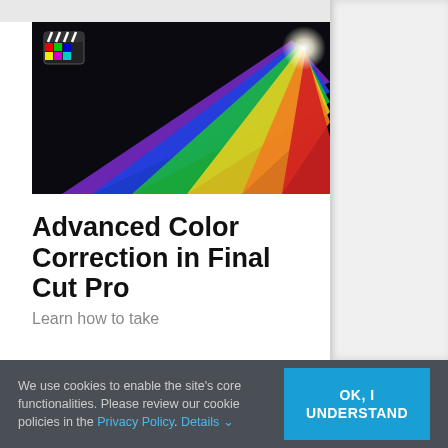[Figure (photo): Colorful rainbow light spectrum beam against a dark background, with a clapperboard icon overlay in the top-left corner. Represents video/color correction content for Final Cut Pro.]
Advanced Color Correction in Final Cut Pro
Learn how to take
We use cookies to enable the site's core functionalities. Please review our cookie policies in the Privacy Policy. Details ▾
OK, I UNDERSTAND